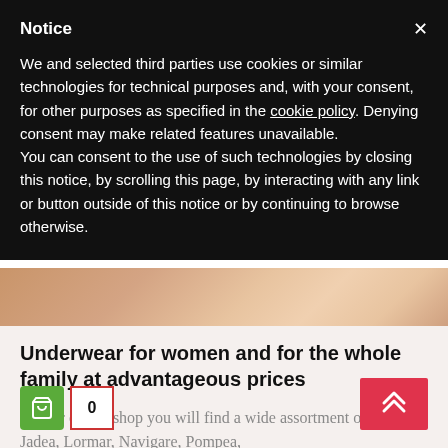Notice
We and selected third parties use cookies or similar technologies for technical purposes and, with your consent, for other purposes as specified in the cookie policy. Denying consent may make related features unavailable.
You can consent to the use of such technologies by closing this notice, by scrolling this page, by interacting with any link or button outside of this notice or by continuing to browse otherwise.
[Figure (photo): Partial view of a person's lower body, skin tones visible against a light background]
Underwear for women and for the whole family at advantageous prices
On our online shop you will find a wide assortment of underwear by Jadea, Lormar, Navigare, Pompea, Cotonella, Love and bra, Biagiotti and others at low